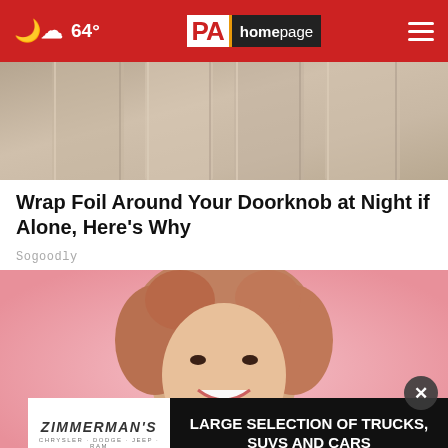PA homepage — 64°
[Figure (photo): Close-up photo of a wooden door with vertical panels in tan/beige tones]
Wrap Foil Around Your Doorknob at Night if Alone, Here's Why
Sogoodly
[Figure (photo): Young woman with curly hair smiling on a pink background]
[Figure (other): Zimmerman's Chrysler Dodge Jeep Ram advertisement — LARGE SELECTION OF TRUCKS, SUVS AND CARS]